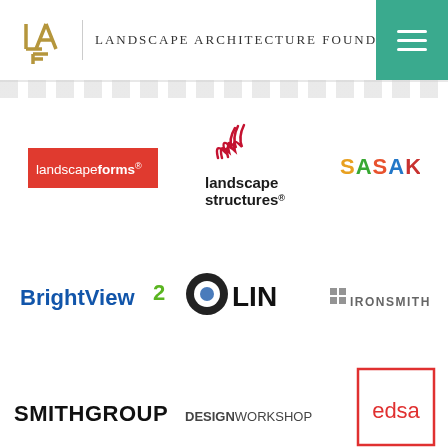Landscape Architecture Foundation
[Figure (logo): landscapeforms logo — white text on red rectangle background]
[Figure (logo): landscape structures logo — stylized script mark above the words landscape structures]
[Figure (logo): SASAKI logo — multicolored letters spelling SASAKI]
[Figure (logo): BrightView logo — blue text with green leaf/number 2 mark]
[Figure (logo): OLIN logo — black circle with white O, followed by LIN in bold black]
[Figure (logo): IRONSMITH logo — small grid icon followed by IRONSMITH in gray caps]
[Figure (logo): SMITHGROUP logo — bold black all-caps text]
[Figure (logo): DESIGNWORKSHOP logo — uppercase text, DESIGN bold, WORKSHOP regular]
[Figure (logo): edsa logo — lowercase red text inside a red square border]